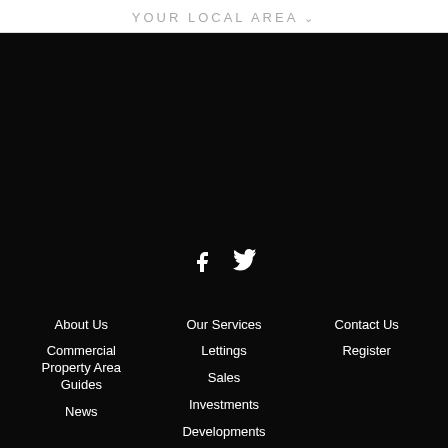YOUR LOCAL AREA ˅
[Figure (illustration): Social media icons: Facebook and Twitter, white on black background]
About Us
Commercial Property Area Guides
News
Our Services
Lettings
Sales
Investments
Developments
Contact Us
Register